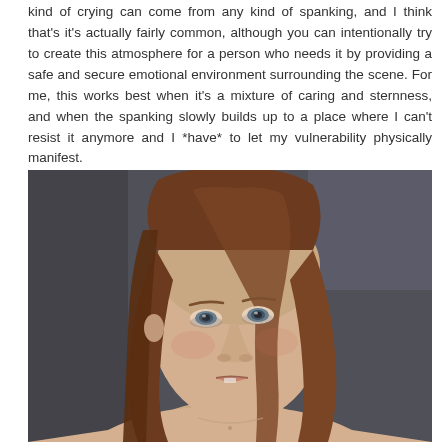kind of crying can come from any kind of spanking, and I think that's it's actually fairly common, although you can intentionally try to create this atmosphere for a person who needs it by providing a safe and secure emotional environment surrounding the scene. For me, this works best when it's a mixture of caring and sternness, and when the spanking slowly builds up to a place where I can't resist it anymore and I *have* to let my vulnerability physically manifest.
[Figure (photo): Close-up portrait photograph of a young woman with long straight brown hair, looking upward to her left. She has blue-grey eyes, slightly flushed cheeks, and parted lips. She appears to be bare-shouldered. The background is dark and blurred.]